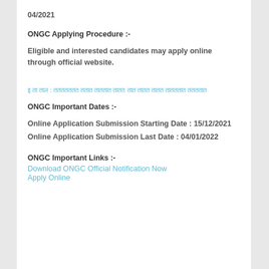04/2021
ONGC Applying Procedure :-
Eligible and interested candidates may apply online through official website.
इ ता ताल : ततततततत ततात ताततात तातत तात तातत तातत तातततात ततततात
ONGC Important Dates :-
Online Application Submission Starting Date : 15/12/2021
Online Application Submission Last Date : 04/01/2022
ONGC Important Links :-
Download ONGC Official Notification Now
Apply Online